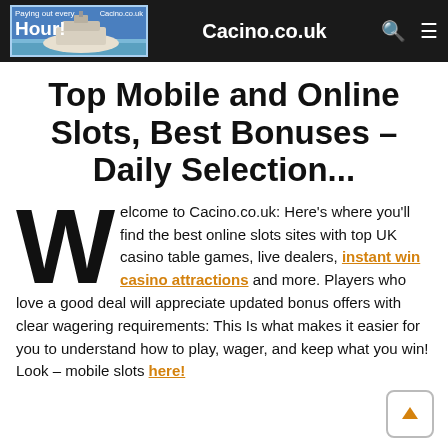Cacino.co.uk
Top Mobile and Online Slots, Best Bonuses – Daily Selection...
Welcome to Cacino.co.uk: Here's where you'll find the best online slots sites with top UK casino table games, live dealers, instant win casino attractions and more. Players who love a good deal will appreciate updated bonus offers with clear wagering requirements: This Is what makes it easier for you to understand how to play, wager, and keep what you win! Look – mobile slots here!